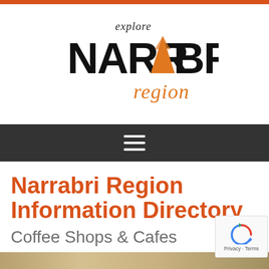[Figure (logo): Explore Narrabri Region logo with orange triangle forming the letter A in NARRABRI, and italic orange 'region' text below, with cursive 'explore' above in dark text]
[Figure (other): Dark navigation bar with white hamburger menu icon (three horizontal lines)]
Narrabri Region Information Directory
Coffee Shops & Cafes
[Figure (other): reCAPTCHA widget showing a circular arrow logo and Privacy - Terms text]
[Figure (map): Map strip at the bottom of the page]